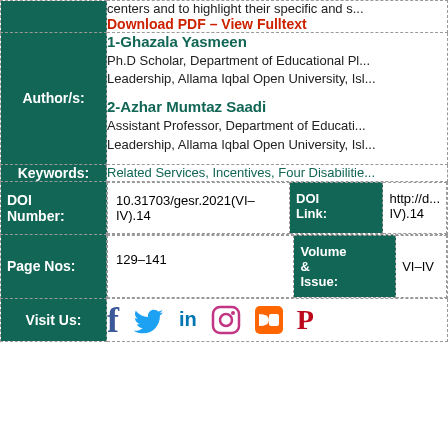centers and to highlight their specific and s... Download PDF – View Fulltext
1-Ghazala Yasmeen
Ph.D Scholar, Department of Educational Planning & Leadership, Allama Iqbal Open University, Islamabad
2-Azhar Mumtaz Saadi
Assistant Professor, Department of Educational Planning & Leadership, Allama Iqbal Open University, Islamabad
Related Services, Incentives, Four Disabilities
| DOI Number |  | DOI Link |  |
| --- | --- | --- | --- |
| 10.31703/gesr.2021(VI-IV).14 |  |  | http://d...IV).14 |
| Page Nos |  | Volume & Issue |  |
| --- | --- | --- | --- |
| 129-141 |  |  | VI-IV |
Visit Us: [Facebook] [Twitter] [LinkedIn] [Instagram] [RSS] [Pinterest]